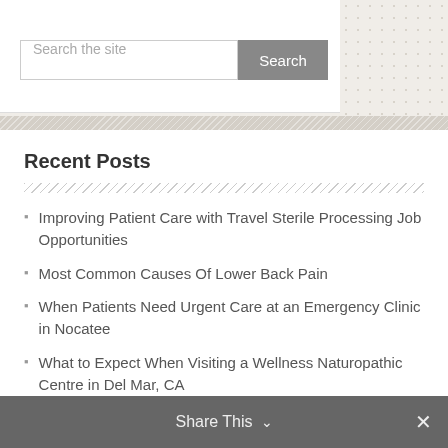Search the site
Recent Posts
Improving Patient Care with Travel Sterile Processing Job Opportunities
Most Common Causes Of Lower Back Pain
When Patients Need Urgent Care at an Emergency Clinic in Nocatee
What to Expect When Visiting a Wellness Naturopathic Centre in Del Mar, CA
The Advantages Of Using A Needle Trap
Share This ∨  ✕